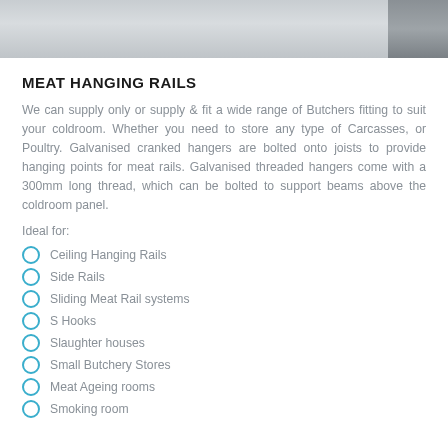[Figure (photo): Photograph of a cold room interior showing white panels and a door, partially visible.]
MEAT HANGING RAILS
We can supply only or supply & fit a wide range of Butchers fitting to suit your coldroom. Whether you need to store any type of Carcasses, or Poultry. Galvanised cranked hangers are bolted onto joists to provide hanging points for meat rails. Galvanised threaded hangers come with a 300mm long thread, which can be bolted to support beams above the coldroom panel.
Ideal for:
Ceiling Hanging Rails
Side Rails
Sliding Meat Rail systems
S Hooks
Slaughter houses
Small Butchery Stores
Meat Ageing rooms
Smoking room